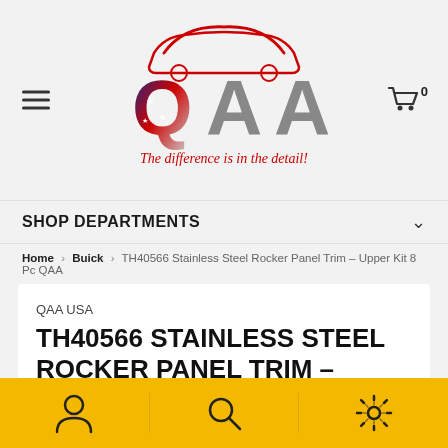[Figure (logo): QAA logo with American flag design and red sports car silhouette, tagline: The difference is in the detail!]
SHOP DEPARTMENTS
Home > Buick > TH40566 Stainless Steel Rocker Panel Trim – Upper Kit 8 Pc QAA
QAA USA
TH40566 STAINLESS STEEL ROCKER PANEL TRIM - UPPER KIT 8 PC QAA
[Figure (infographic): Bottom yellow toolbar with user/account icon, search icon, and settings/gear icon separated by dividers]